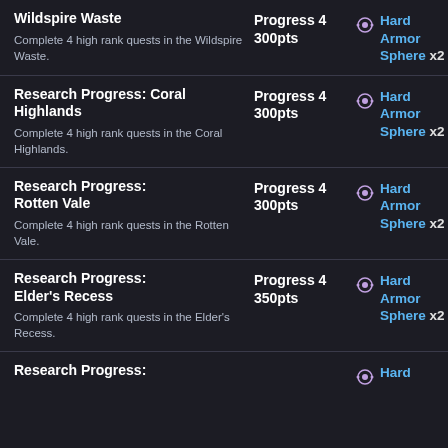Wildspire Waste
Complete 4 high rank quests in the Wildspire Waste.
Progress 4 300pts
Hard Armor Sphere x2
Research Progress: Coral Highlands
Complete 4 high rank quests in the Coral Highlands.
Progress 4 300pts
Hard Armor Sphere x2
Research Progress: Rotten Vale
Complete 4 high rank quests in the Rotten Vale.
Progress 4 300pts
Hard Armor Sphere x2
Research Progress: Elder's Recess
Complete 4 high rank quests in the Elder's Recess.
Progress 4 350pts
Hard Armor Sphere x2
Research Progress:
Hard